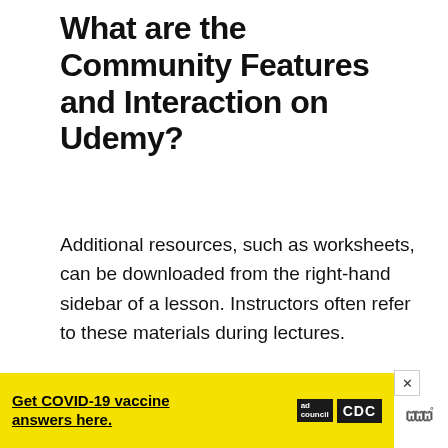What are the Community Features and Interaction on Udemy?
Additional resources, such as worksheets, can be downloaded from the right-hand sidebar of a lesson. Instructors often refer to these materials during lectures.
[Figure (other): Scroll-to-top button: dark square with upward chevron arrow]
ADVERTISEMENT
[Figure (other): Three grey dots indicating advertisement pagination]
[Figure (other): Yellow advertisement banner: Get COVID-19 vaccine answers here. Ad Council and CDC logos. Close button (x). Weather icon.]